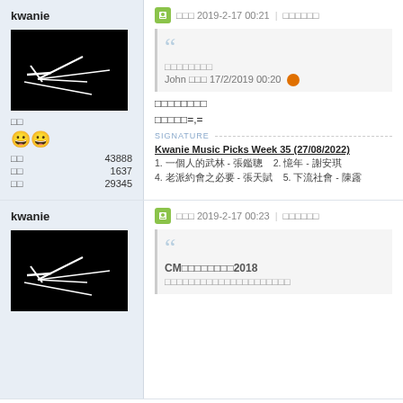kwanie
[Figure (photo): Black background avatar image with white line art sketch]
□□
😀😀
□□   43888
□□   1637
□□   29345
□□□ 2019-2-17 00:21 | □□□□□□
□□□□□□□□
John □□□ 17/2/2019 00:20
□□□□□□□□
□□□□□=,=
SIGNATURE
Kwanie Music Picks Week 35 (27/08/2022)
1. 一個人的武林 - 張鑑聰   2. 憶年 - 謝安琪
4. 老派約會之必要 - 張天賦   5. 下流社會 - 陳露
kwanie
[Figure (photo): Black background avatar image with white line art sketch]
□□□ 2019-2-17 00:23 | □□□□□□
CM□□□□□□□□2018
□□□□□□□□□□□□□□□□□□□□□